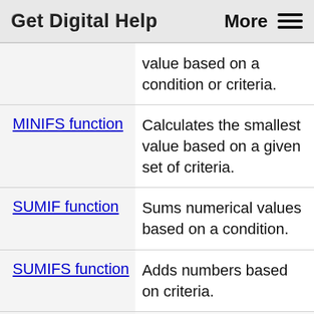Get Digital Help   More ☰
| Function | Description |
| --- | --- |
|  | value based on a condition or criteria. |
| MINIFS function | Calculates the smallest value based on a given set of criteria. |
| SUMIF function | Sums numerical values based on a condition. |
| SUMIFS function | Adds numbers based on criteria. |
| Excel Function Reference | Provides detailed information including syntax, arguments |